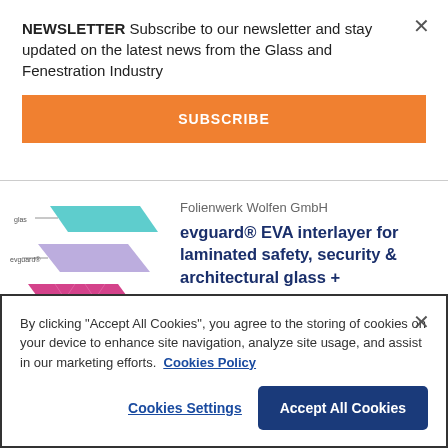NEWSLETTER Subscribe to our newsletter and stay updated on the latest news from the Glass and Fenestration Industry
SUBSCRIBE
Folienwerk Wolfen GmbH
evguard® EVA interlayer for laminated safety, security & architectural glass +
[Figure (illustration): Layered diagram of glass interlayer sheets (teal, purple, magenta) with labels: glas, evguard, PET NPE]
By clicking "Accept All Cookies", you agree to the storing of cookies on your device to enhance site navigation, analyze site usage, and assist in our marketing efforts.  Cookies Policy
Cookies Settings
Accept All Cookies